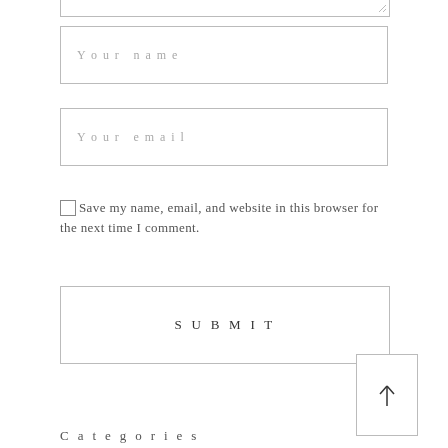[Figure (screenshot): Partial textarea input field (top edge cut off) with resize indicator in bottom-right corner]
Your name
Your email
Save my name, email, and website in this browser for the next time I comment.
SUBMIT
[Figure (other): Scroll-to-top button with upward arrow icon]
Categories